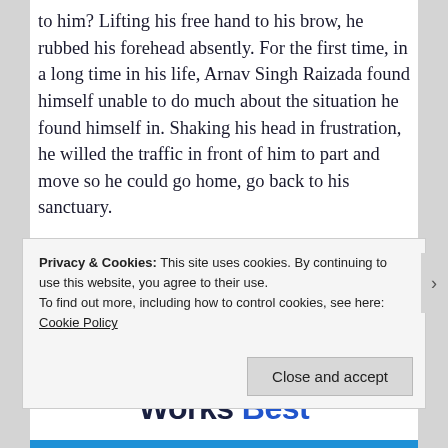to him? Lifting his free hand to his brow, he rubbed his forehead absently. For the first time, in a long time in his life, Arnav Singh Raizada found himself unable to do much about the situation he found himself in. Shaking his head in frustration, he willed the traffic in front of him to part and move so he could go home, go back to his sanctuary.
[Figure (screenshot): Partially visible WordPress promotional banner showing 'Where WordPress Works Best' in bold dark and blue text]
Privacy & Cookies: This site uses cookies. By continuing to use this website, you agree to their use.
To find out more, including how to control cookies, see here: Cookie Policy
Close and accept